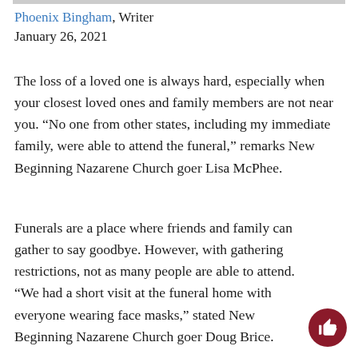Phoenix Bingham, Writer
January 26, 2021
The loss of a loved one is always hard, especially when your closest loved ones and family members are not near you. “No one from other states, including my immediate family, were able to attend the funeral,” remarks New Beginning Nazarene Church goer Lisa McPhee.
Funerals are a place where friends and family can gather to say goodbye. However, with gathering restrictions, not as many people are able to attend. “We had a short visit at the funeral home with everyone wearing face masks,” stated New Beginning Nazarene Church goer Doug Brice.